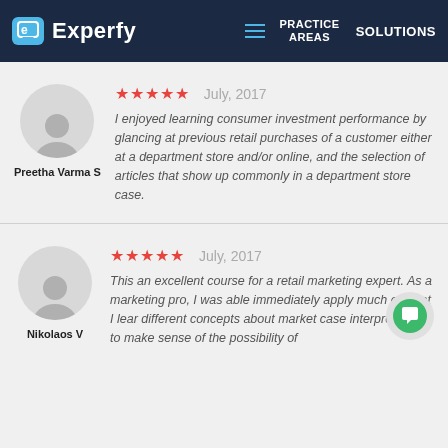Experfy — PRACTICE AREAS / SOLUTIONS
★★★★★  July, 2017
I enjoyed learning consumer investment performance by glancing at previous retail purchases of a customer either at a department store and/or online, and the selection of articles that show up commonly in a department store case.
Preetha Varma S
★★★★★  July, 2017
This an excellent course for a retail marketing expert. As a marketing pro, I was able immediately apply much of what I lear different concepts about market case interpretation to make sense of the possibility of
Nikolaos V